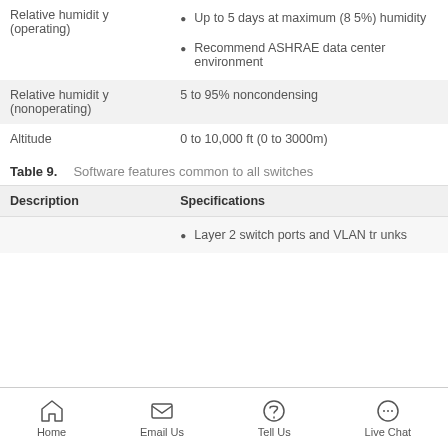|  |  |
| --- | --- |
| Relative humidity (operating) | • Up to 5 days at maximum (85%) humidity
• Recommend ASHRAE data center environment |
| Relative humidity (nonoperating) | 5 to 95% noncondensing |
| Altitude | 0 to 10,000 ft (0 to 3000m) |
Table 9. Software features common to all switches
| Description | Specifications |
| --- | --- |
|  | • Layer 2 switch ports and VLAN trunks |
Home  Email Us  Tell Us  Live Chat